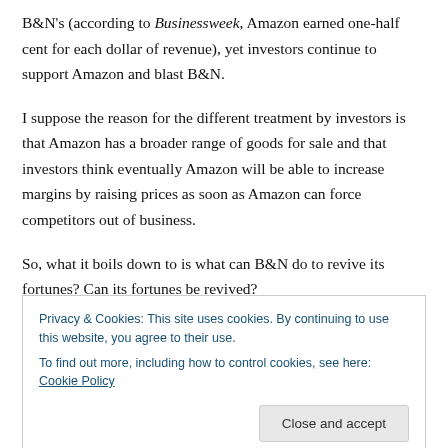B&N's (according to Businessweek, Amazon earned one-half cent for each dollar of revenue), yet investors continue to support Amazon and blast B&N.
I suppose the reason for the different treatment by investors is that Amazon has a broader range of goods for sale and that investors think eventually Amazon will be able to increase margins by raising prices as soon as Amazon can force competitors out of business.
So, what it boils down to is what can B&N do to revive its fortunes? Can its fortunes be revived?
Privacy & Cookies: This site uses cookies. By continuing to use this website, you agree to their use.
To find out more, including how to control cookies, see here: Cookie Policy
Close and accept
tactical, thinking. Yet they remain in control of B&N.